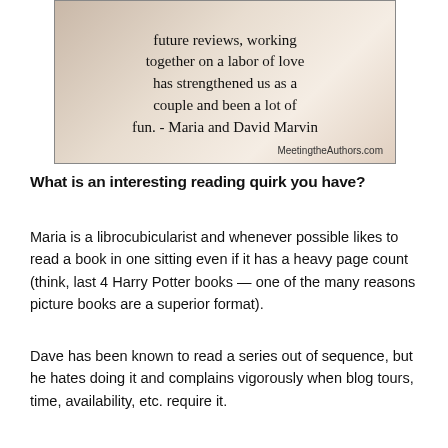[Figure (photo): An image with handwritten-style text on a soft bokeh book background reading: '...future reviews, working together on a labor of love has strengthened us as a couple and been a lot of fun. - Maria and David Marvin' with 'MeetingtheAuthors.com' in the bottom right corner.]
What is an interesting reading quirk you have?
Maria is a librocubicularist and whenever possible likes to read a book in one sitting even if it has a heavy page count (think, last 4 Harry Potter books — one of the many reasons picture books are a superior format).
Dave has been known to read a series out of sequence, but he hates doing it and complains vigorously when blog tours, time, availability, etc. require it.